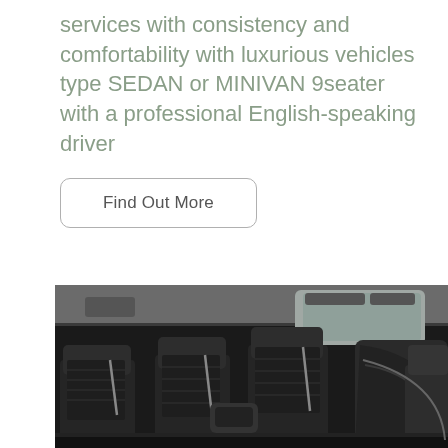services with consistency and comfortability with luxurious vehicles type SEDAN or MINIVAN 9seater with a professional English-speaking driver
Find Out More
[Figure (photo): Interior of a minivan showing rows of black leather/fabric seats with seatbelts, a folding armrest, and window on the right side. Dark interior with grey ceiling.]